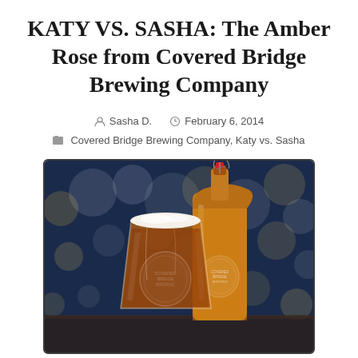KATY VS. SASHA: The Amber Rose from Covered Bridge Brewing Company
Sasha D.   February 6, 2014
Covered Bridge Brewing Company, Katy vs. Sasha
[Figure (photo): Photo of a pint glass filled with dark amber beer with a white foamy head next to a large amber growler bottle with a swing-top cap, both bearing the Covered Bridge Brewing logo, set against a blurred city lights bokeh background at night.]